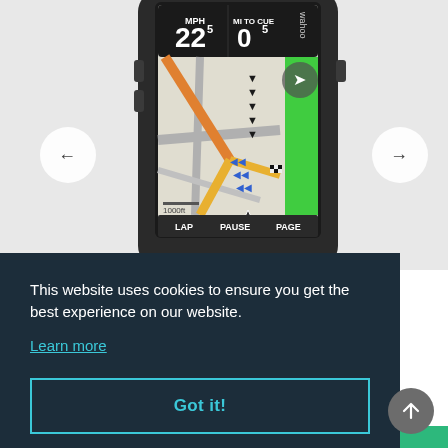[Figure (photo): GPS cycling computer (Wahoo ELEMNT BOLT) displaying a navigation map screen with speed '22 MPH', distance '0 MI TO CUE', map with route highlighted in green, LAP/PAUSE/PAGE buttons at bottom, navigation arrows on left and right sides of the product image]
This website uses cookies to ensure you get the best experience on our website.
Learn more
Got it!
friends from $9.99 per month